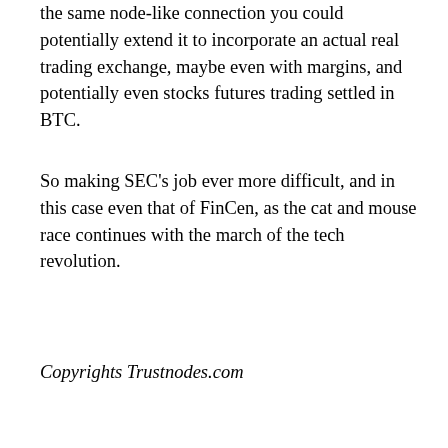the same node-like connection you could potentially extend it to incorporate an actual real trading exchange, maybe even with margins, and potentially even stocks futures trading settled in BTC.
So making SEC's job ever more difficult, and in this case even that of FinCen, as the cat and mouse race continues with the march of the tech revolution.
Copyrights Trustnodes.com